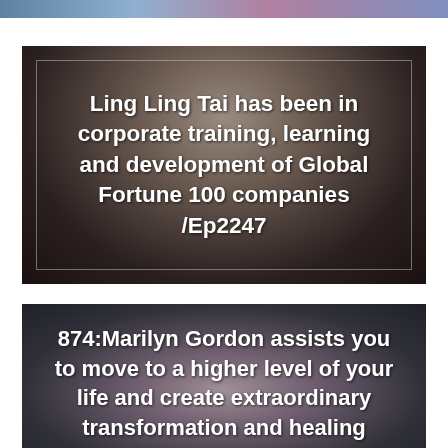[Figure (photo): Partial image at top of page showing a person with colorful background]
[Figure (photo): Portrait photo of Ling Ling Tai with dark background and a thin border overlay]
Ling Ling Tai has been in corporate training, learning and development of Global Fortune 100 companies /Ep2247
[Figure (photo): Portrait photo of Marilyn Gordon with dark background]
874:Marilyn Gordon assists you to move to a higher level of your life and create extraordinary transformation and healing